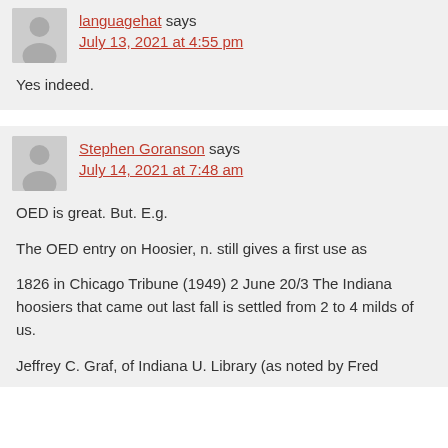languagehat says
July 13, 2021 at 4:55 pm
Yes indeed.
Stephen Goranson says
July 14, 2021 at 7:48 am
OED is great. But. E.g.
The OED entry on Hoosier, n. still gives a first use as
1826 in Chicago Tribune (1949) 2 June 20/3 The Indiana hoosiers that came out last fall is settled from 2 to 4 milds of us.
Jeffrey C. Graf, of Indiana U. Library (as noted by Fred